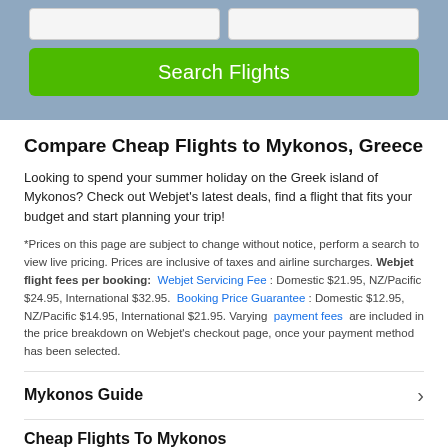[Figure (screenshot): Top banner with a blurred mountain/sky background, two input boxes side by side, and a green 'Search Flights' button below them.]
Compare Cheap Flights to Mykonos, Greece
Looking to spend your summer holiday on the Greek island of Mykonos? Check out Webjet's latest deals, find a flight that fits your budget and start planning your trip!
*Prices on this page are subject to change without notice, perform a search to view live pricing. Prices are inclusive of taxes and airline surcharges. Webjet flight fees per booking: Webjet Servicing Fee: Domestic $21.95, NZ/Pacific $24.95, International $32.95. Booking Price Guarantee: Domestic $12.95, NZ/Pacific $14.95, International $21.95. Varying payment fees are included in the price breakdown on Webjet's checkout page, once your payment method has been selected.
Mykonos Guide
Cheap Flights To Mykonos